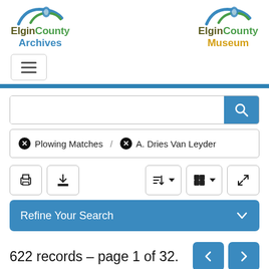[Figure (logo): Elgin County Archives logo with green and blue arc swoosh]
[Figure (logo): Elgin County Museum logo with green and blue arc swoosh]
[Figure (screenshot): Hamburger menu navigation button]
Plowing Matches / A. Dries Van Leyder
622 records – page 1 of 32.